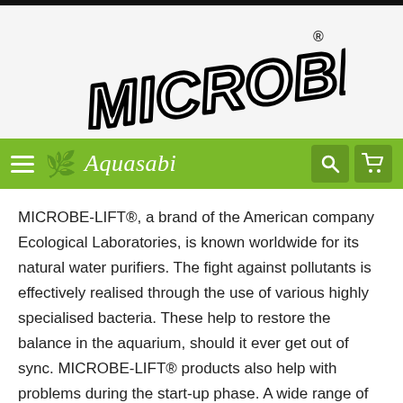[Figure (logo): MICROBE-LIFT brand logo in bold stylized italic font with outline]
Aquasabi navigation bar with hamburger menu, Aquasabi logo and brand name, search icon, and cart icon
MICROBE-LIFT®, a brand of the American company Ecological Laboratories, is known worldwide for its natural water purifiers. The fight against pollutants is effectively realised through the use of various highly specialised bacteria. These help to restore the balance in the aquarium, should it ever get out of sync. MICROBE-LIFT® products also help with problems during the start-up phase. A wide range of effects is achieved through the combination of different bacteria. Almost all